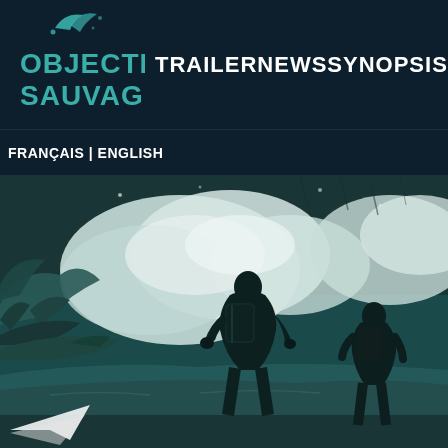OBJECTIF SAUVAGE
TRAILER  NEWS  SYNOPSIS
FRANÇAIS | ENGLISH
[Figure (illustration): Stylized illustration in teal/dark tones showing two figures with backpacks viewed from behind, standing near a body of water with dramatic clouds, rocky terrain, and trees in the background. A white arrow/plane shape visible in the lower left corner.]